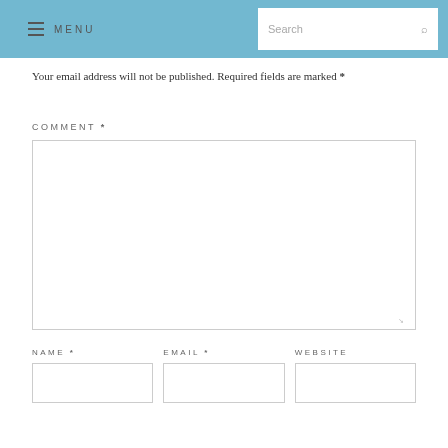MENU  Search
Your email address will not be published. Required fields are marked *
COMMENT *
NAME *  EMAIL *  WEBSITE